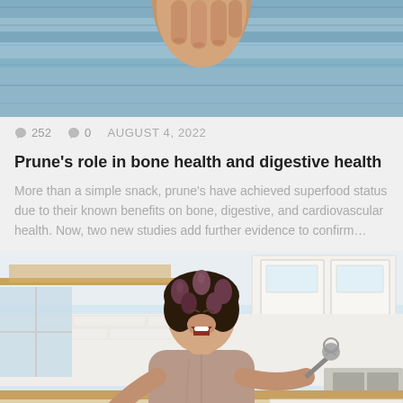[Figure (photo): Close-up of a hand against a blue painted wood background, cropped at top of page]
🗨 252   🗨 0   AUGUST 4, 2022
Prune's role in bone health and digestive health
More than a simple snack, prune's have achieved superfood status due to their known benefits on bone, digestive, and cardiovascular health. Now, two new studies add further evidence to confirm...
[Figure (photo): Woman with hair curlers in a kitchen, laughing and holding kitchen utensils, wearing a robe]